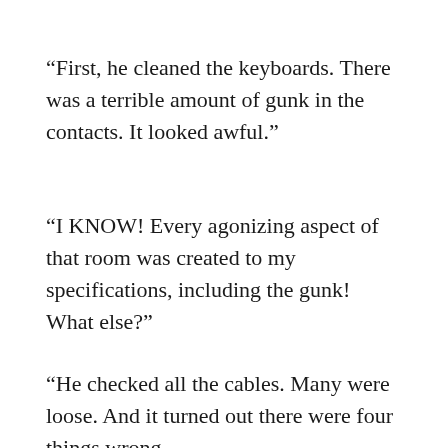“First, he cleaned the keyboards. There was a terrible amount of gunk in the contacts. It looked awful.”
“I KNOW! Every agonizing aspect of that room was created to my specifications, including the gunk! What else?”
“He checked all the cables. Many were loose. And it turned out there were four things wrong